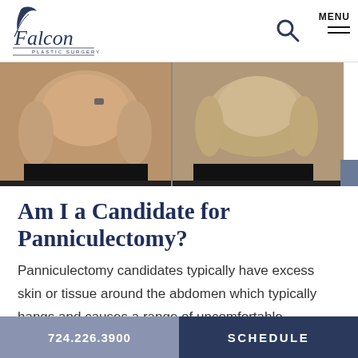Falcon Plastic Surgery
[Figure (photo): Before and after photos showing abdomen, split view with black bars at bottom]
Am I a Candidate for Panniculectomy?
Panniculectomy candidates typically have excess skin or tissue around the abdomen which typically hangs and causes a range of uncomfortable symptoms. Some
724.226.3900   SCHEDULE